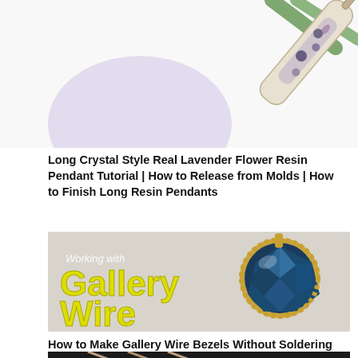[Figure (photo): Close-up photo of a long crystal-style resin pendant with lavender flowers inside, gold chain visible, green leaves in background, lavender/purple circle shape on left side]
Long Crystal Style Real Lavender Flower Resin Pendant Tutorial | How to Release from Molds | How to Finish Long Resin Pendants
[Figure (photo): Tutorial thumbnail image showing a gold gallery wire bezel with a large faceted dark blue/teal gemstone. Text overlay reads 'Working with Gallery Wire' in yellow and white text.]
How to Make Gallery Wire Bezels Without Soldering
[Figure (photo): Partial thumbnail of another tutorial, dark background with metallic wire or jewelry elements visible]